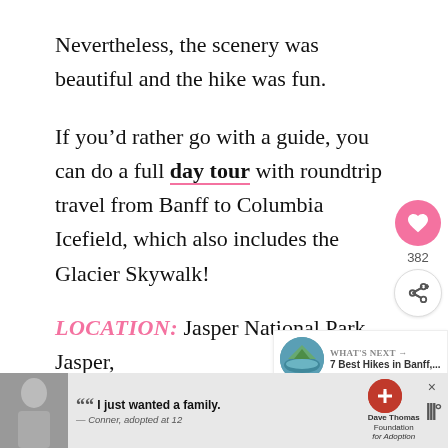Nevertheless, the scenery was beautiful and the hike was fun.
If you’d rather go with a guide, you can do a full day tour with roundtrip travel from Banff to Columbia Icefield, which also includes the Glacier Skywalk!
LOCATION: Jasper National Park, Jasper, AB | Website
[Figure (other): Heart/like button with pink background showing 382 likes, and a share button below it]
[Figure (other): What's Next promotional banner showing '7 Best Hikes in Banff,...' with a circular thumbnail image of a mountain lake]
[Figure (other): Advertisement banner for Dave Thomas Foundation for Adoption with quote 'I just wanted a family. — Conner, adopted at 12']